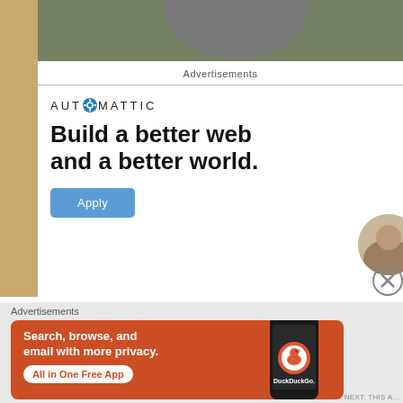[Figure (photo): Partial photo visible at top of page showing person with purple/blue hair and green clothing]
Advertisements
[Figure (infographic): Automattic advertisement: logo with gear icon, headline 'Build a better web and a better world.' and Apply button]
Advertisements
[Figure (infographic): DuckDuckGo advertisement on orange/red background: 'Search, browse, and email with more privacy. All in One Free App' with phone image and DuckDuckGo logo]